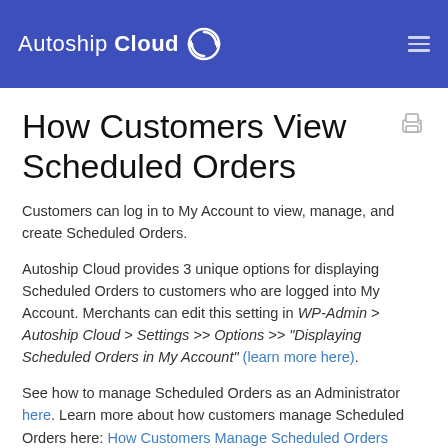Autoship Cloud
How Customers View Scheduled Orders
Customers can log in to My Account to view, manage, and create Scheduled Orders.
Autoship Cloud provides 3 unique options for displaying Scheduled Orders to customers who are logged into My Account. Merchants can edit this setting in WP-Admin > Autoship Cloud > Settings >> Options >> "Displaying Scheduled Orders in My Account" (learn more here).
See how to manage Scheduled Orders as an Administrator here. Learn more about how customers manage Scheduled Orders here: How Customers Manage Scheduled Orders